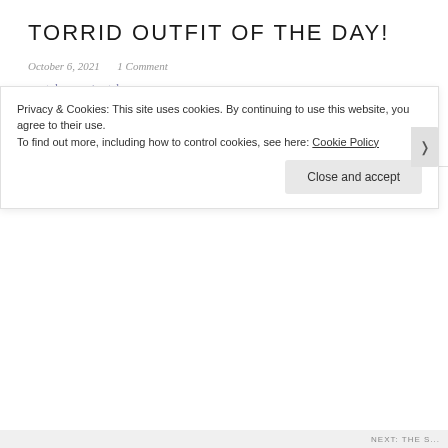TORRID OUTFIT OF THE DAY!
October 6, 2021   1 Comment
youtube.com/watch
Check out today's outfit and subscribe to my YouTube channel for all things plus size fashion and body positivity!
TORRID OUTFIT OF THE DAY!
Privacy & Cookies: This site uses cookies. By continuing to use this website, you agree to their use.
To find out more, including how to control cookies, see here: Cookie Policy
Close and accept